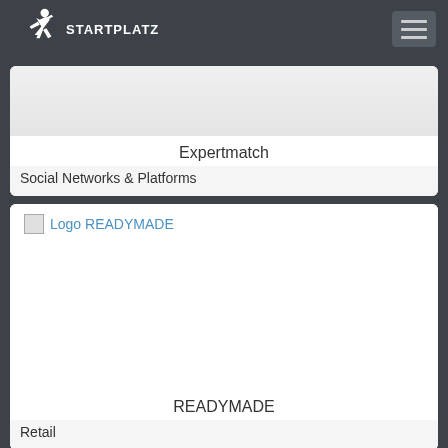STARTPLATZ
Expertmatch
Social Networks & Platforms
[Figure (logo): Logo READYMADE placeholder image with broken image icon and blue text link]
READYMADE
Retail